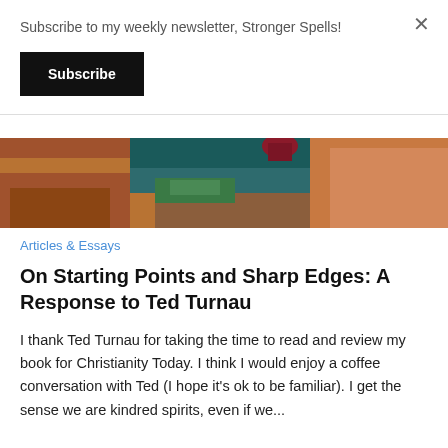Subscribe to my weekly newsletter, Stronger Spells!
Subscribe
[Figure (photo): Aerial or close-up photo of canyon landscape with red rock formations, a river or lake in background, and a person in a red/maroon top visible at the top edge.]
Articles & Essays
On Starting Points and Sharp Edges: A Response to Ted Turnau
I thank Ted Turnau for taking the time to read and review my book for Christianity Today. I think I would enjoy a coffee conversation with Ted (I hope it's ok to be familiar). I get the sense we are kindred spirits, even if we...